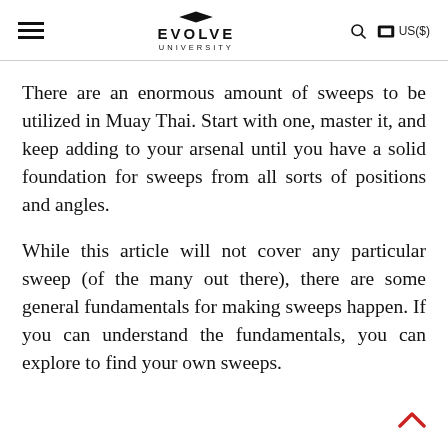EVOLVE UNIVERSITY
There are an enormous amount of sweeps to be utilized in Muay Thai. Start with one, master it, and keep adding to your arsenal until you have a solid foundation for sweeps from all sorts of positions and angles.
While this article will not cover any particular sweep (of the many out there), there are some general fundamentals for making sweeps happen. If you can understand the fundamentals, you can explore to find your own sweeps.